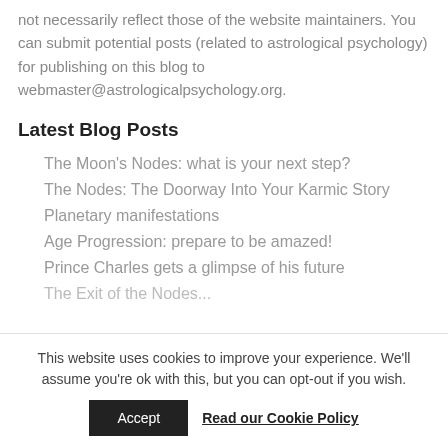not necessarily reflect those of the website maintainers. You can submit potential posts (related to astrological psychology) for publishing on this blog to webmaster@astrologicalpsychology.org.
Latest Blog Posts
The Moon’s Nodes: what is your next step?
The Nodes: The Doorway Into Your Karmic Story
Planetary manifestations
Age Progression: prepare to be amazed!
Prince Charles gets a glimpse of his future
The Exi... (partially visible)
This website uses cookies to improve your experience. We'll assume you're ok with this, but you can opt-out if you wish.
Accept  Read our Cookie Policy